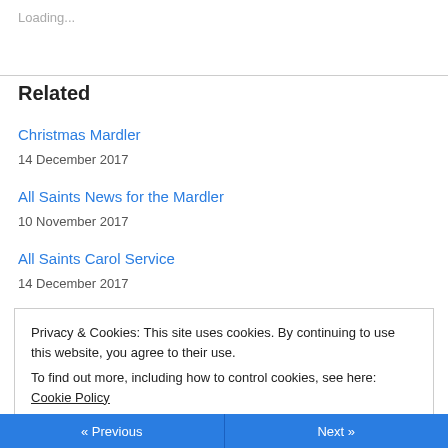Loading...
Related
Christmas Mardler
14 December 2017
All Saints News for the Mardler
10 November 2017
All Saints Carol Service
14 December 2017
Privacy & Cookies: This site uses cookies. By continuing to use this website, you agree to their use.
To find out more, including how to control cookies, see here: Cookie Policy
« Previous    Next »